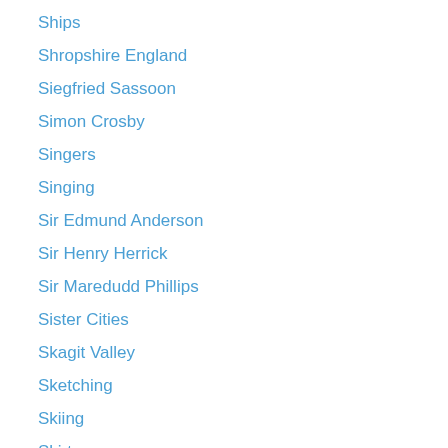Ships
Shropshire England
Siegfried Sassoon
Simon Crosby
Singers
Singing
Sir Edmund Anderson
Sir Henry Herrick
Sir Maredudd Phillips
Sister Cities
Skagit Valley
Sketching
Skiing
Skirts
Slave Owners
Slavery
Slaves
Snow
Snow Leopard Trust
Social history